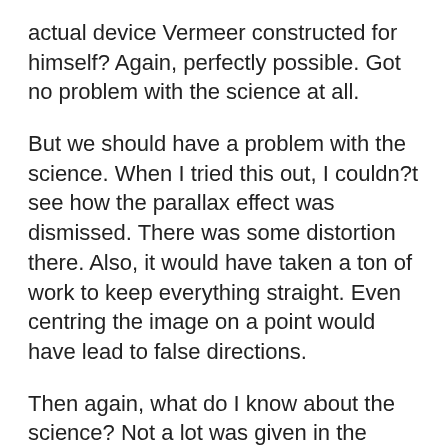actual device Vermeer constructed for himself? Again, perfectly possible. Got no problem with the science at all.
But we should have a problem with the science. When I tried this out, I couldn?t see how the parallax effect was dismissed. There was some distortion there. Also, it would have taken a ton of work to keep everything straight. Even centring the image on a point would have lead to false directions.
Then again, what do I know about the science? Not a lot was given in the movie. There was a claim that the human eye can?t process light the way Vermeer seemed to and they had a real neuroscientist say just that but then again we